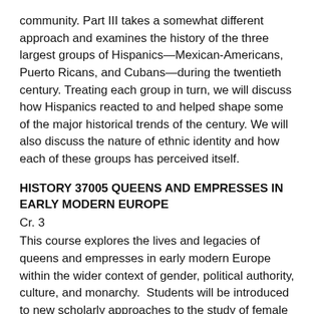community. Part III takes a somewhat different approach and examines the history of the three largest groups of Hispanics—Mexican-Americans, Puerto Ricans, and Cubans—during the twentieth century. Treating each group in turn, we will discuss how Hispanics reacted to and helped shape some of the major historical trends of the century. We will also discuss the nature of ethnic identity and how each of these groups has perceived itself.
HISTORY 37005 QUEENS AND EMPRESSES IN EARLY MODERN EUROPE
Cr. 3
This course explores the lives and legacies of queens and empresses in early modern Europe within the wider context of gender, political authority, culture, and monarchy. Students will be introduced to new scholarly approaches to the study of female rulership.
HISTORY 37100 SOCIETY, CULTURE, AND ROCK AND